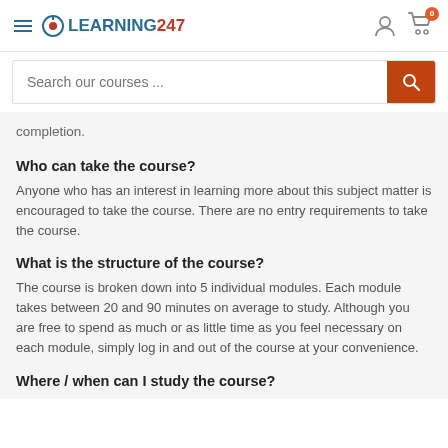LEARNING247
completion.
Who can take the course?
Anyone who has an interest in learning more about this subject matter is encouraged to take the course. There are no entry requirements to take the course.
What is the structure of the course?
The course is broken down into 5 individual modules. Each module takes between 20 and 90 minutes on average to study. Although you are free to spend as much or as little time as you feel necessary on each module, simply log in and out of the course at your convenience.
Where / when can I study the course?